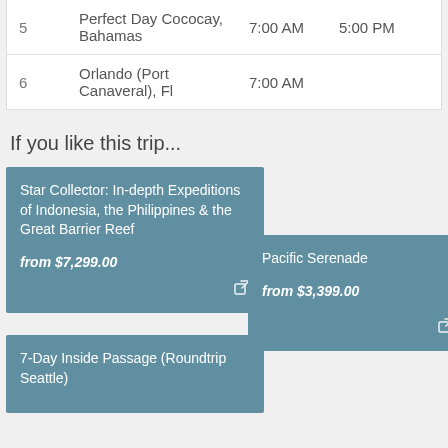|  | Destination | Arrives | Departs |
| --- | --- | --- | --- |
| 5 | Perfect Day Cococay, Bahamas | 7:00 AM | 5:00 PM |
| 6 | Orlando (Port Canaveral), Fl | 7:00 AM |  |
If you like this trip...
Star Collector: In-depth Expeditions of Indonesia, the Philippines & the Great Barrier Reef
from $7,299.00
Pacific Serenade
from $3,399.00
7-Day Inside Passage (Roundtrip Seattle)